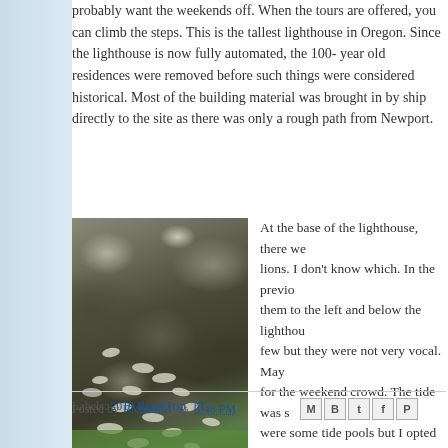probably want the weekends off. When the tours are offered, you can climb the steps. This is the tallest lighthouse in Oregon. Since the lighthouse is now fully automated, the 100-year old residences were removed before such things were considered historical. Most of the building material was brought in by ship directly to the site as there was only a rough path from Newport.
[Figure (photo): Photo of seals or sea lions resting on dark rocky coastline]
At the base of the lighthouse, there we... lions. I don't know which. In the previo... them to the left and below the lighthou... few but they were not very vocal. May... for the weekend crowd. The tide was s... were some tide pools but I opted not t...
Posted by RichardM at 3:48 PM    Labels: 2010 Road Trip, TT